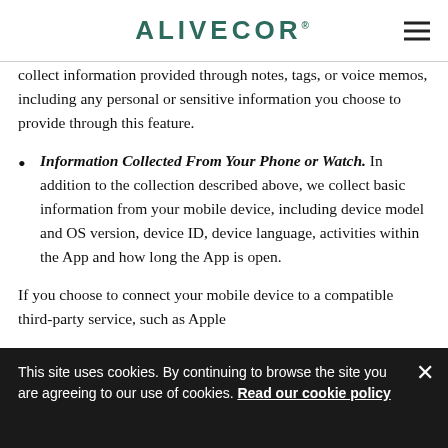ALIVECOR
collect information provided through notes, tags, or voice memos, including any personal or sensitive information you choose to provide through this feature.
Information Collected From Your Phone or Watch. In addition to the collection described above, we collect basic information from your mobile device, including device model and OS version, device ID, device language, activities within the App and how long the App is open.
If you choose to connect your mobile device to a compatible third-party service, such as Apple
This site uses cookies. By continuing to browse the site you are agreeing to our use of cookies. Read our cookie policy